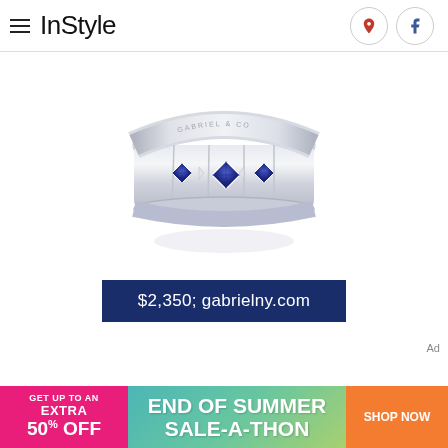InStyle
[Figure (photo): Silver ring with blue sapphire princess-cut stones set in star-shaped bezels, shown on white background. Gabriel & NY brand engraving visible on inner band.]
$2,350; gabrielny.com
[Figure (infographic): Advertisement banner: GET UP TO AN EXTRA 50% OFF END OF SUMMER SALE-A-THON SHOP NOW]